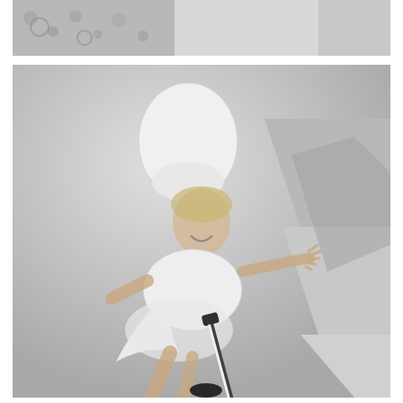[Figure (photo): Partial black and white photograph at top of page, showing what appears to be a decorative or patterned background with some objects.]
[Figure (photo): Black and white photograph of a woman wearing a large white chef's hat and a white strapless outfit with a bow, holding what appears to be a sword or saber, posing playfully while smiling at the camera. The background is light/grey tones.]